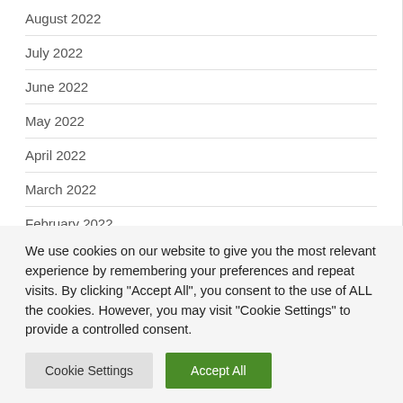August 2022
July 2022
June 2022
May 2022
April 2022
March 2022
February 2022
January 2022
We use cookies on our website to give you the most relevant experience by remembering your preferences and repeat visits. By clicking "Accept All", you consent to the use of ALL the cookies. However, you may visit "Cookie Settings" to provide a controlled consent.
Cookie Settings | Accept All